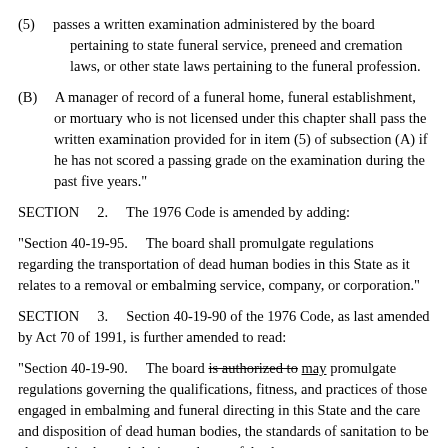(5)    passes a written examination administered by the board pertaining to state funeral service, preneed and cremation laws, or other state laws pertaining to the funeral profession.
(B)    A manager of record of a funeral home, funeral establishment, or mortuary who is not licensed under this chapter shall pass the written examination provided for in item (5) of subsection (A) if he has not scored a passing grade on the examination during the past five years."
SECTION    2.    The 1976 Code is amended by adding:
"Section 40-19-95.    The board shall promulgate regulations regarding the transportation of dead human bodies in this State as it relates to a removal or embalming service, company, or corporation."
SECTION    3.    Section 40-19-90 of the 1976 Code, as last amended by Act 70 of 1991, is further amended to read:
"Section 40-19-90.    The board is authorized to may promulgate regulations governing the qualifications, fitness, and practices of those engaged in embalming and funeral directing in this State and the care and disposition of dead human bodies, the standards of sanitation to be observed in the embalming and care of dead